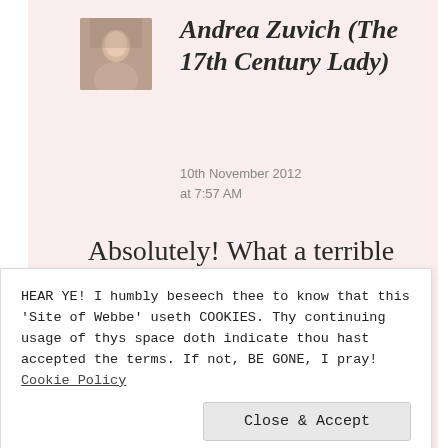Andrea Zuvich (The 17th Century Lady)
10th November 2012 at 7:57 AM
Absolutely! What a terrible omission!
HEAR YE! I humbly beseech thee to know that this 'Site of Webbe' useth COOKIES. Thy continuing usage of thys space doth indicate thou hast accepted the terms. If not, BE GONE, I pray! Cookie Policy
Close & Accept